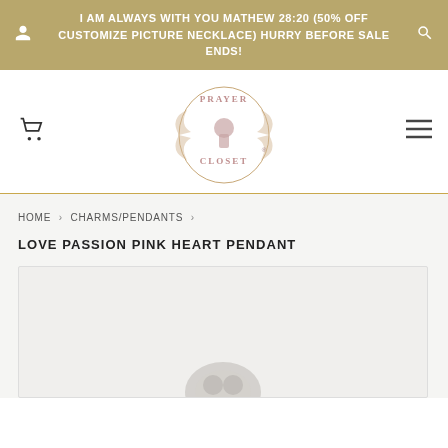I AM ALWAYS WITH YOU MATHEW 28:20 (50% OFF CUSTOMIZE PICTURE NECKLACE) HURRY BEFORE SALE ENDS!
[Figure (logo): Prayer Closet logo with keyhole and decorative design]
HOME › CHARMS/PENDANTS ›
LOVE PASSION PINK HEART PENDANT
[Figure (photo): Product photo of Love Passion Pink Heart Pendant, partially visible at bottom of page]